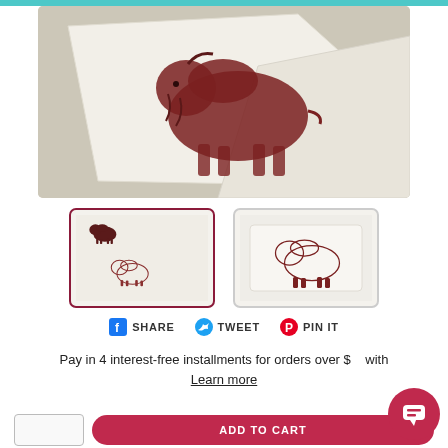[Figure (photo): White tea towel with dark red/brown bison illustration printed on it, laid flat on a light surface]
[Figure (photo): Thumbnail 1: Two bison illustrations on white background, selected state with red border]
[Figure (photo): Thumbnail 2: Single bison illustration on white tea towel]
SHARE  TWEET  PIN IT
Pay in 4 interest-free installments for orders over $50 with Learn more